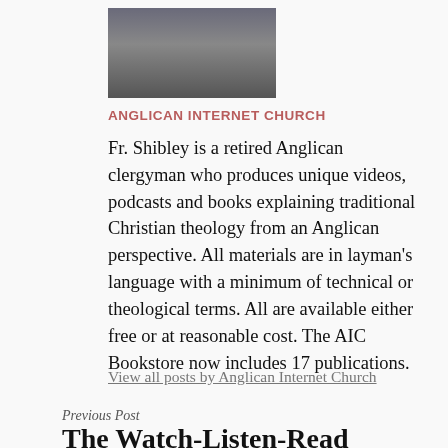[Figure (photo): Portrait photo of Fr. Shibley, a clergyman in dark attire]
ANGLICAN INTERNET CHURCH
Fr. Shibley is a retired Anglican clergyman who produces unique videos, podcasts and books explaining traditional Christian theology from an Anglican perspective. All materials are in layman's language with a minimum of technical or theological terms. All are available either free or at reasonable cost. The AIC Bookstore now includes 17 publications.
View all posts by Anglican Internet Church
Previous Post
The Watch-Listen-Read Initiative